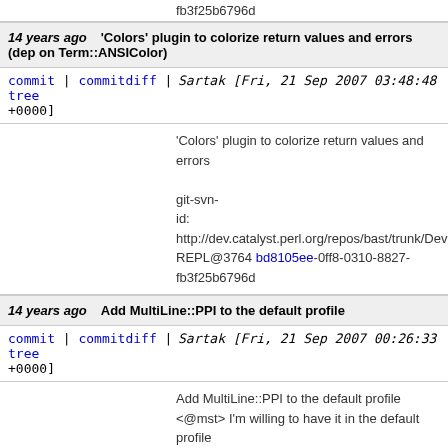fb3f25b6796d
14 years ago   'Colors' plugin to colorize return values and errors (dep on Term::ANSIColor)
commit | commitdiff | tree   Sartak [Fri, 21 Sep 2007 03:48:48 +0000]
'Colors' plugin to colorize return values and errors

git-svn-id: http://dev.catalyst.perl.org/repos/bast/trunk/Dev REPL@3764 bd8105ee-0ff8-0310-8827-fb3f25b6796d
14 years ago   Add MultiLine::PPI to the default profile
commit | commitdiff | tree   Sartak [Fri, 21 Sep 2007 00:26:33 +0000]
Add MultiLine::PPI to the default profile <@mst> I'm willing to have it in the default profile :)

git-svn-id: http://dev.catalyst.perl.org/repos/bast/trunk/Dev REPL@3763 bd8105ee-0ff8-0310-8827-fb3f25b6796d